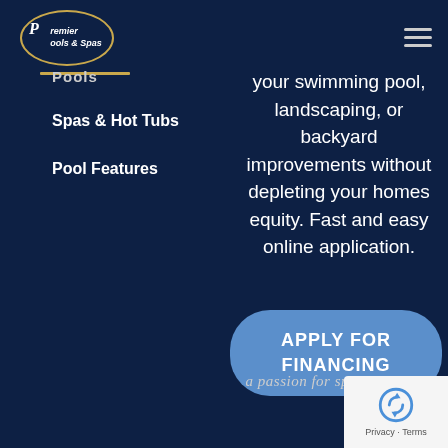[Figure (logo): Premier Pools & Spas logo - oval shape with gold border, white text inside]
Pools
Spas & Hot Tubs
Pool Features
your swimming pool, landscaping, or backyard improvements without depleting your homes equity. Fast and easy online application.
APPLY FOR FINANCING
a passion for splashin'